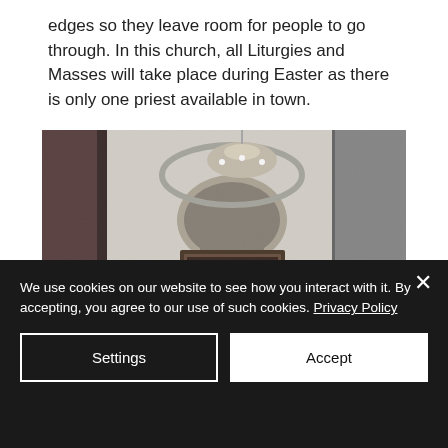edges so they leave room for people to go through. In this church, all Liturgies and Masses will take place during Easter as there is only one priest available in town.
[Figure (photo): Black and white interior photograph of a church showing ornate columns, a chandelier, decorative arched alcove with an altar or shrine, iron railings, and a figure in white near the front.]
We use cookies on our website to see how you interact with it. By accepting, you agree to our use of such cookies. Privacy Policy